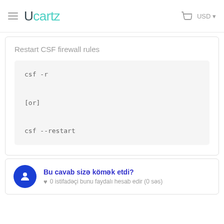Ucartz  USD
Restart CSF firewall rules
Bu cavab sizə kömək etdi?
0 istifadəçi bunu faydalı hesab edir (0 səs)